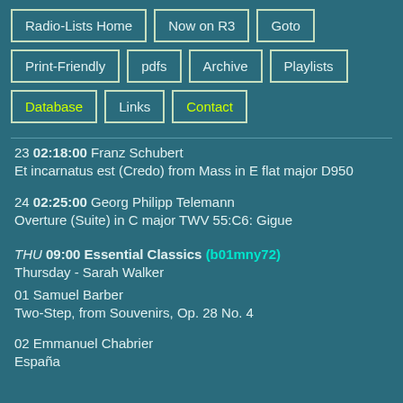Radio-Lists Home
Now on R3
Goto
Print-Friendly
pdfs
Archive
Playlists
Database
Links
Contact
23 02:18:00 Franz Schubert
Et incarnatus est (Credo) from Mass in E flat major D950
24 02:25:00 Georg Philipp Telemann
Overture (Suite) in C major TWV 55:C6: Gigue
THU 09:00 Essential Classics (b01mny72)
Thursday - Sarah Walker
01 Samuel Barber
Two-Step, from Souvenirs, Op. 28 No. 4
02 Emmanuel Chabrier
España